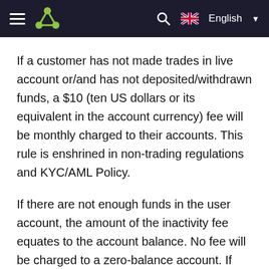Navigation bar with hamburger menu, logo, search icon, and English language selector
If a customer has not made trades in live account or/and has not deposited/withdrawn funds, a $10 (ten US dollars or its equivalent in the account currency) fee will be monthly charged to their accounts. This rule is enshrined in non-trading regulations and KYC/AML Policy.
If there are not enough funds in the user account, the amount of the inactivity fee equates to the account balance. No fee will be charged to a zero-balance account. If there is no money in the account, no debt is to be paid to the company.
No service fee is charged to the account provided